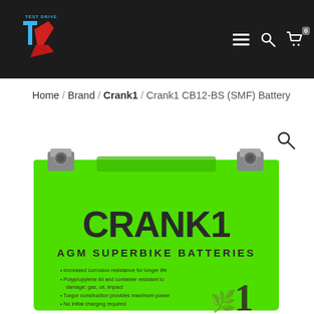Test Drive (TD) logo, navigation menu, search, cart (0)
Home / Brand / Crank1 / Crank1 CB12-BS (SMF) Battery
[Figure (photo): Crank1 CB12-BS green AGM Superbike Battery product photo showing green battery with CRANK1 branding and AGM SUPERBIKE BATTERIES text, with bullet points about features]